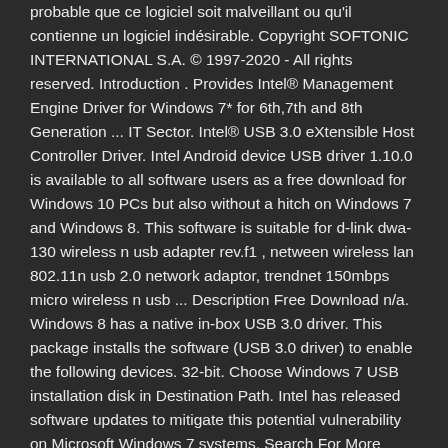probable que ce logiciel soit malveillant ou qu'il contienne un logiciel indésirable. Copyright SOFTONIC INTERNATIONAL S.A. © 1997-2020 - All rights reserved. Introduction . Provides Intel® Management Engine Driver for Windows 7* for 6th,7th and 8th Generation ... IT Sector. Intel® USB 3.0 eXtensible Host Controller Driver. Intel Android device USB driver 1.10.0 is available to all software users as a free download for Windows 10 PCs but also without a hitch on Windows 7 and Windows 8. This software is suitable for d-link dwa-130 wireless n usb adapter rev.f1 , netween wireless lan 802.11n usb 2.0 network adaptor, trendnet 150mbps micro wireless n usb ... Description Free Download n/a. Windows 8 has a native in-box USB 3.0 driver. This package installs the software (USB 3.0 driver) to enable the following devices. 32-bit. Choose Windows 7 USB installation disk in Destination Path. Intel has released software updates to mitigate this potential vulnerability on Microsoft Windows 7 systems. Search For More Drivers *: Go! In Softonic we scan all the files hosted on our platform to